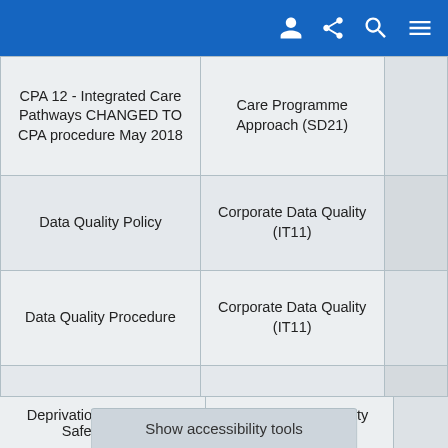|  |  |  |
| --- | --- | --- |
| CPA 12 - Integrated Care Pathways CHANGED TO CPA procedure May 2018 | Care Programme Approach (SD21) |  |
| Data Quality Policy | Corporate Data Quality (IT11) |  |
| Data Quality Procedure | Corporate Data Quality (IT11) |  |
| Decontamination of Environment Procedure | Infection Prevention and Control (IC01) |  |
| Deprivation of Liberty Safeguards... | Deprivation of Liberty Safeguards |  |
Show accessibility tools